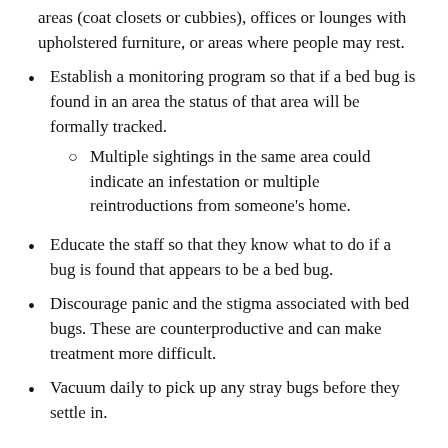areas (coat closets or cubbies), offices or lounges with upholstered furniture, or areas where people may rest.
Establish a monitoring program so that if a bed bug is found in an area the status of that area will be formally tracked.
Multiple sightings in the same area could indicate an infestation or multiple reintroductions from someone's home.
Educate the staff so that they know what to do if a bug is found that appears to be a bed bug.
Discourage panic and the stigma associated with bed bugs. These are counterproductive and can make treatment more difficult.
Vacuum daily to pick up any stray bugs before they settle in.